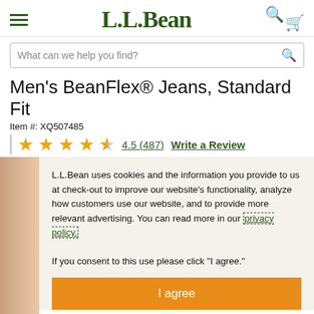L.L.Bean
What can we help you find?
Men's BeanFlex® Jeans, Standard Fit
Item #: XQ507485
4.5 (487)   Write a Review
L.L.Bean uses cookies and the information you provide to us at check-out to improve our website's functionality, analyze how customers use our website, and to provide more relevant advertising. You can read more in our privacy policy.

If you consent to this use please click "I agree."
I agree